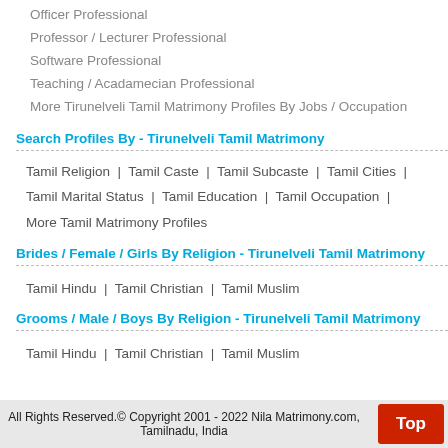Officer Professional
Professor / Lecturer Professional
Software Professional
Teaching / Acadamecian Professional
More Tirunelveli Tamil Matrimony Profiles By Jobs / Occupation
Search Profiles By - Tirunelveli Tamil Matrimony
Tamil Religion | Tamil Caste | Tamil Subcaste | Tamil Cities | Tamil Marital Status | Tamil Education | Tamil Occupation | More Tamil Matrimony Profiles
Brides / Female / Girls By Religion - Tirunelveli Tamil Matrimony
Tamil Hindu | Tamil Christian | Tamil Muslim
Grooms / Male / Boys By Religion - Tirunelveli Tamil Matrimony
Tamil Hindu | Tamil Christian | Tamil Muslim
All Rights Reserved.© Copyright 2001 - 2022 Nila Matrimony.com, Tamilnadu, India